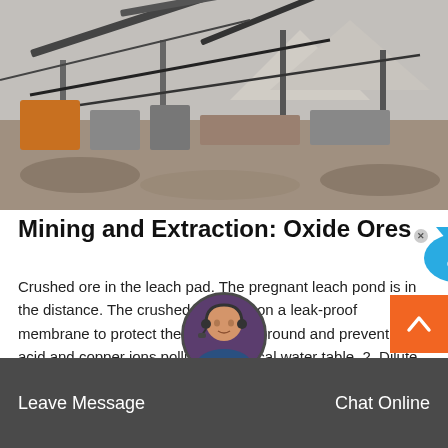[Figure (photo): Aerial/close-up view of a mining and ore extraction facility with conveyor belts, crushing machinery, and industrial equipment.]
Mining and Extraction: Oxide Ores
Crushed ore in the leach pad. The pregnant leach pond is in the distance. The crushed ore rests on a leak-proof membrane to protect the underlying ground and prevent the acid and copper ions polluting the local water table. 2. Dilute sulfuric acid is poured over the crushed ore using an irrigation system. (Courtesy of Red Tiger Mining Inc.)
Leave Message  Chat Online